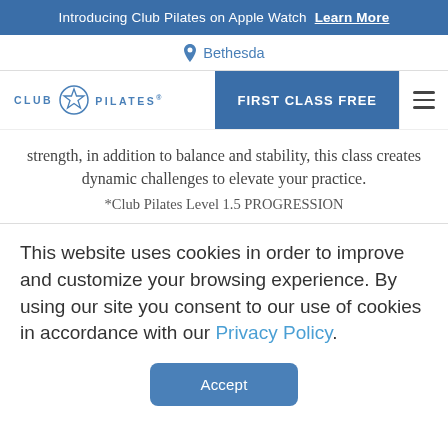Introducing Club Pilates on Apple Watch  Learn More
Bethesda
[Figure (logo): Club Pilates logo with star emblem]
FIRST CLASS FREE
strength, in addition to balance and stability, this class creates dynamic challenges to elevate your practice.
*Club Pilates Level 1.5 PROGRESSION
This website uses cookies in order to improve and customize your browsing experience. By using our site you consent to our use of cookies in accordance with our Privacy Policy.
Accept